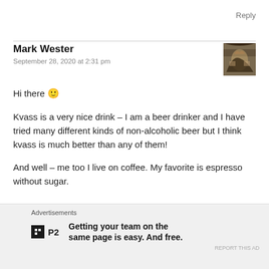Reply
Mark Wester
September 28, 2020 at 2:31 pm
Hi there 🙂
Kvass is a very nice drink – I am a beer drinker and I have tried many different kinds of non-alcoholic beer but I think kvass is much better than any of them!
And well – me too I live on coffee. My favorite is espresso without sugar.
Advertisements
[Figure (logo): P2 advertisement logo with tagline: Getting your team on the same page is easy. And free.]